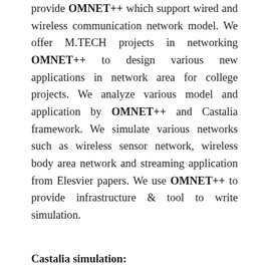provide OMNET++ which support wired and wireless communication network model. We offer M.TECH projects in networking OMNET++ to design various new applications in network area for college projects. We analyze various model and application by OMNET++ and Castalia framework. We simulate various networks such as wireless sensor network, wireless body area network and streaming application from Elesvier papers. We use OMNET++ to provide infrastructure & tool to write simulation.
Castalia simulation:
We use Castalia simulator for wireless sensor network and body area network. We implement Castalia simulation platform for both research and developing applications. Also We also